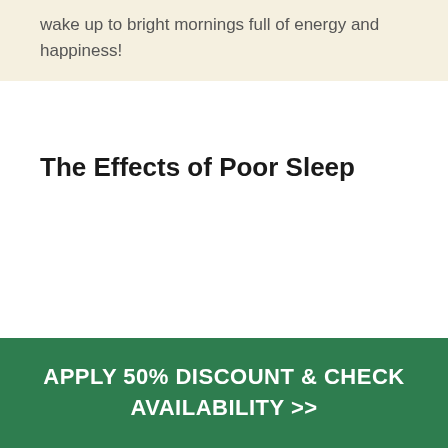wake up to bright mornings full of energy and happiness!
The Effects of Poor Sleep
In our fast-paced world full of light pollution and
APPLY 50% DISCOUNT & CHECK AVAILABILITY >>